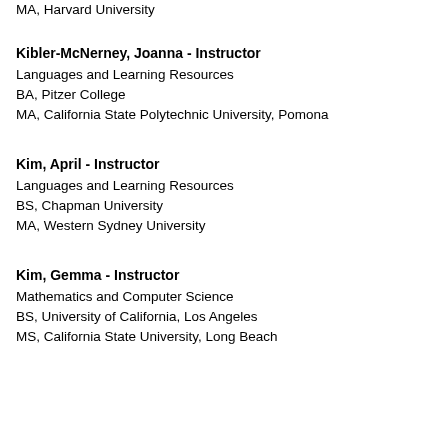MA, Harvard University
Kibler-McNerney, Joanna - Instructor
Languages and Learning Resources
BA, Pitzer College
MA, California State Polytechnic University, Pomona
Kim, April - Instructor
Languages and Learning Resources
BS, Chapman University
MA, Western Sydney University
Kim, Gemma - Instructor
Mathematics and Computer Science
BS, University of California, Los Angeles
MS, California State University, Long Beach